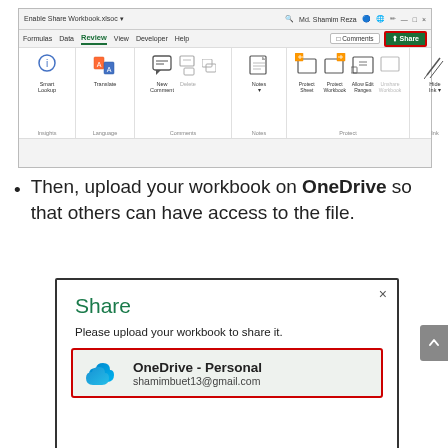[Figure (screenshot): Microsoft Excel ribbon showing the Review tab with Share button highlighted in green with red border. Menu shows: Formulas, Data, Review (active), View, Developer, Help. Ribbon groups: Insights (Smart Lookup), Language (Translate), Comments (New Comment, Delete), Notes, Protect (Protect Sheet, Protect Workbook, Allow Edit Ranges, Unshare Workbook), Ink (Hide Ink). Comments and Share buttons visible top right.]
Then, upload your workbook on OneDrive so that others can have access to the file.
[Figure (screenshot): Excel Share dialog box with title 'Share' in green, subtitle 'Please upload your workbook to share it.' and a OneDrive - Personal option (shamimbuet13@gmail.com) with blue cloud icon highlighted with red dotted border.]